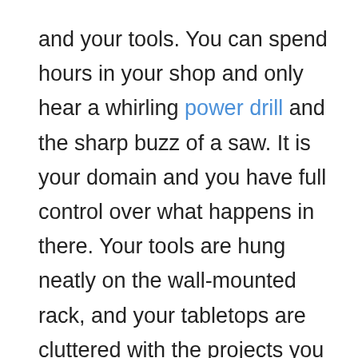and your tools. You can spend hours in your shop and only hear a whirling power drill and the sharp buzz of a saw. It is your domain and you have full control over what happens in there. Your tools are hung neatly on the wall-mounted rack, and your tabletops are cluttered with the projects you have envisioned to add to your home or car. You even have a small refrigerator to keep various snacks and beers within arm's reach, in case you're hungry, or you have friends over.
But your workshop is not complete. You may have been thinking about acquiring a...